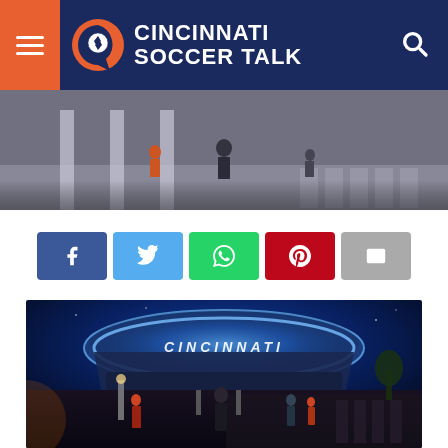Cincinnati Soccer Talk
[Figure (photo): Street-level rendering of FC Cincinnati stadium exterior with people walking, daytime, top portion]
[Figure (infographic): Social sharing buttons: Facebook, Twitter, WhatsApp, Pinterest, Email]
[Figure (photo): Night rendering of FC Cincinnati stadium exterior lit in blue with CINCINNATI text on roof, crowds of people on street]